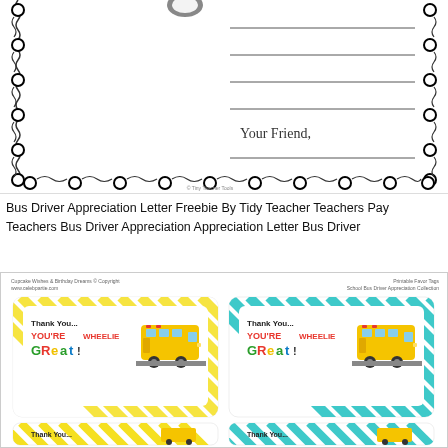[Figure (illustration): Bus driver appreciation letter template with decorative circular/ring border, handwriting lines on the right side, and 'Your Friend,' closing text. Partially visible school bus illustration in upper left.]
Bus Driver Appreciation Letter Freebie By Tidy Teacher Teachers Pay Teachers Bus Driver Appreciation Appreciation Letter Bus Driver
[Figure (illustration): Printable favor tags for school bus driver appreciation collection by Cupcake Wishes & Birthday Dreams. Two columns of tags with yellow diagonal stripe and teal diagonal stripe backgrounds. Tags read 'Thank You... YOU'RE WHEELIE GReat!' with school bus illustration. Bottom row shows partial 'Thank You' tags.]